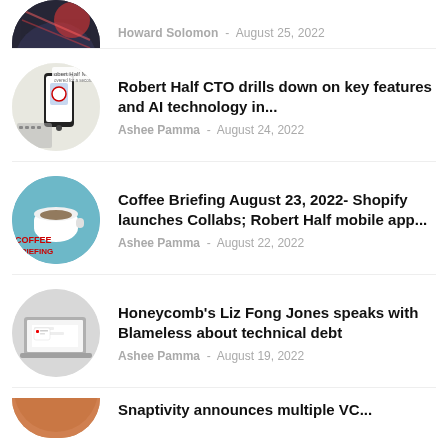[Figure (photo): Circular thumbnail image, partially visible at top, dark tones]
Howard Solomon – August 25, 2022
[Figure (photo): Circular thumbnail showing Robert Half Mobile app on a smartphone]
Robert Half CTO drills down on key features and AI technology in...
Ashee Pamma – August 24, 2022
[Figure (photo): Circular thumbnail showing a coffee cup on teal background with COFFEE BRIEFING text]
Coffee Briefing August 23, 2022- Shopify launches Collabs; Robert Half mobile app...
Ashee Pamma – August 22, 2022
[Figure (photo): Circular thumbnail showing a laptop with notification]
Honeycomb's Liz Fong Jones speaks with Blameless about technical debt
Ashee Pamma – August 19, 2022
[Figure (photo): Circular thumbnail partially visible at bottom, warm tones]
Snaptivity announces multiple VC...